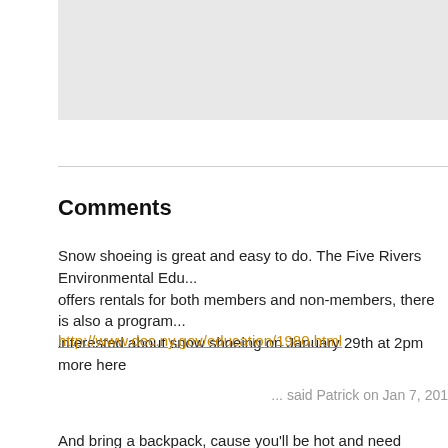[Figure (other): Gray shaded box at top of page]
Comments
Snow shoeing is great and easy to do. The Five Rivers Environmental Edu... offers rentals for both members and non-members, there is also a program... interested about snow shoeing on January 29th at 2pm more here
http://www.dec.ny.gov/education/1980.html
... said Patrick on Jan 7, 201
And bring a backpack, cause you'll be hot and need somewhere to put all t...
... said Jackers on Jan 7, 201
Yay, snowshoeing! Bring a thermos with some hot tea/chocolate.
... said ethan on Jan 7, 201